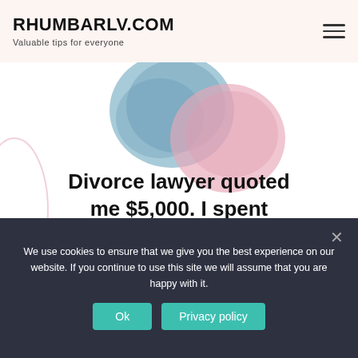RHUMBARLV.COM
Valuable tips for everyone
[Figure (illustration): Advertisement image showing watercolor blue and pink circles at top, text 'Divorce lawyer quoted me $5,000. I spent under $500.' with a woman's photo and a 'LEARN HOW' button in purple]
We use cookies to ensure that we give you the best experience on our website. If you continue to use this site we will assume that you are happy with it.
Ok   Privacy policy